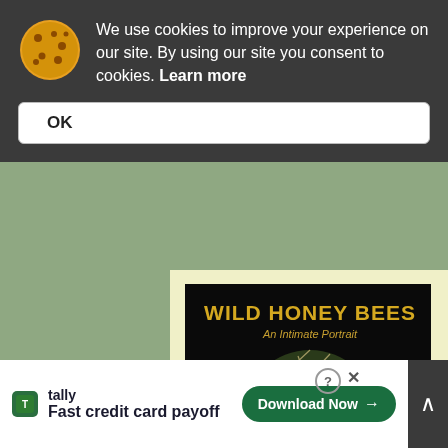We use cookies to improve your experience on our site. By using our site you consent to cookies. Learn more
OK
[Figure (illustration): Book cover of 'Wild Honey Bees: An Intimate Portrait' showing a dark background with a circular swarm of bees and yellow title text]
Wild Honey Bees: The story of forest-dwelling honey bees, including stunning photographs.
[Figure (illustration): Partial book cover visible at bottom: 'A Queen Must Be...' with yellow/patterned background]
Close X
Tally
Fast credit card payoff
Download Now →